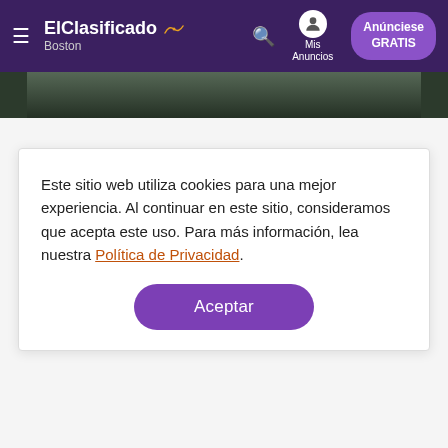ElClasificado Boston — Mis Anuncios — Anúnciese GRATIS
[Figure (photo): Partial banner image with dark foliage/nature scene]
Contacte al anunciante
Este sitio web utiliza cookies para una mejor experiencia. Al continuar en este sitio, consideramos que acepta este uso. Para más información, lea nuestra Política de Privacidad.
Aceptar